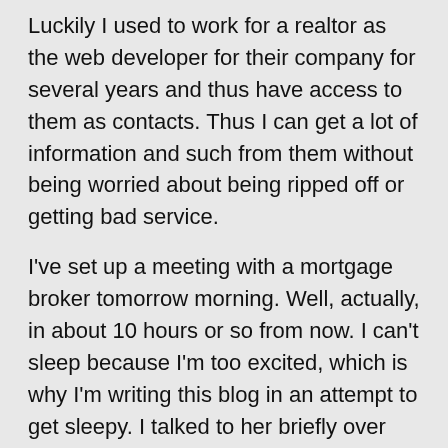Luckily I used to work for a realtor as the web developer for their company for several years and thus have access to them as contacts. Thus I can get a lot of information and such from them without being worried about being ripped off or getting bad service.
I've set up a meeting with a mortgage broker tomorrow morning. Well, actually, in about 10 hours or so from now. I can't sleep because I'm too excited, which is why I'm writing this blog in an attempt to get sleepy. I talked to her briefly over the phone and she seems to think that they should be able to work out getting me approved for a mortgage.
I talked to my dad and he said he'd be fine with co-signing for me. Obviously I want to try to get the mortgage on my own, but it's good to know I'll have a backup if I can't. You see, the obvious problem of me getting a mortgage stems